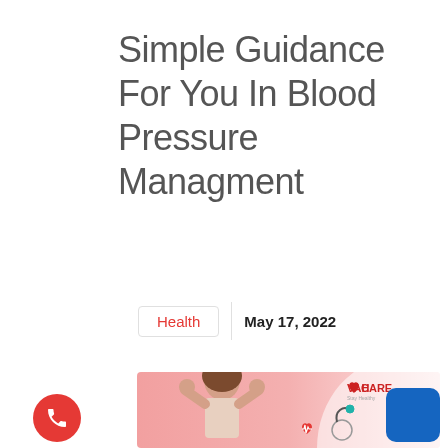Simple Guidance For You In Blood Pressure Managment
Health   May 17, 2022
[Figure (photo): Woman holding head in pain (headache/blood pressure), with VAH Care logo and medical icons (heart with ECG, stethoscope) on a pink gradient background. Red phone button and green WhatsApp button on the left side. Blue square button on the bottom right.]